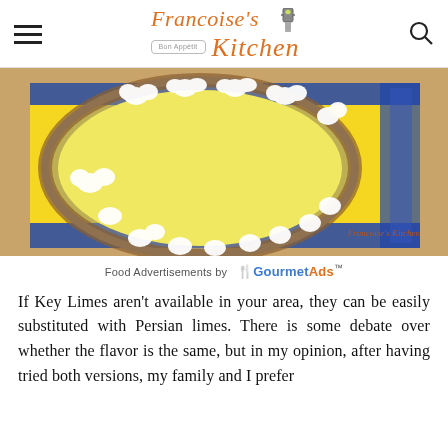Francoise's Kitchen
[Figure (photo): Overhead view of a key lime pie in a glass dish with piped whipped cream rosettes around the edge, placed on a yellow and blue Provençal patterned cloth on a wooden surface. Watermark reads Francoise's Kitchen.]
Food Advertisements by GourmetAds
If Key Limes aren't available in your area, they can be easily substituted with Persian limes. There is some debate over whether the flavor is the same, but in my opinion, after having tried both versions, my family and I prefer